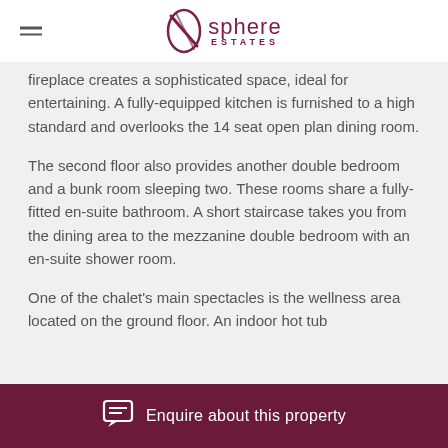Sphere Estates
fireplace creates a sophisticated space, ideal for entertaining. A fully-equipped kitchen is furnished to a high standard and overlooks the 14 seat open plan dining room.
The second floor also provides another double bedroom and a bunk room sleeping two. These rooms share a fully-fitted en-suite bathroom. A short staircase takes you from the dining area to the mezzanine double bedroom with an en-suite shower room.
One of the chalet's main spectacles is the wellness area located on the ground floor. An indoor hot tub
Enquire about this property